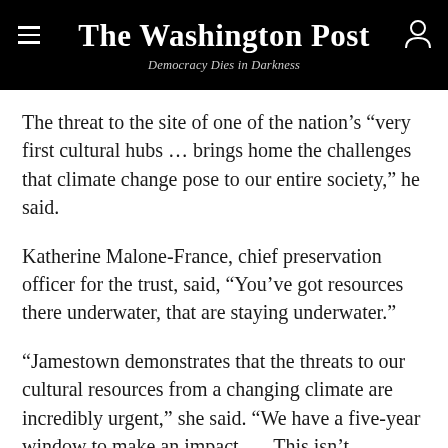The Washington Post — Democracy Dies in Darkness
The threat to the site of one of the nation's “very first cultural hubs … brings home the challenges that climate change pose to our entire society,” he said.
Katherine Malone-France, chief preservation officer for the trust, said, “You’ve got resources there underwater, that are staying underwater.”
“Jamestown demonstrates that the threats to our cultural resources from a changing climate are incredibly urgent,” she said. “We have a five-year window to make an impact. … This isn’t something that can wait 10 or 15 years.”